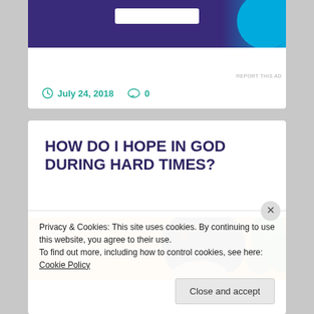[Figure (screenshot): Partial advertisement banner with dark purple background, white input field, and cyan curve decoration. 'REPORT THIS AD' text below.]
July 24, 2018  0
HOW DO I HOPE IN GOD DURING HARD TIMES?
[Figure (photo): Partial photo of a person with curly dark hair against an orange floral background with green foliage on right.]
Privacy & Cookies: This site uses cookies. By continuing to use this website, you agree to their use.
To find out more, including how to control cookies, see here: Cookie Policy
Close and accept